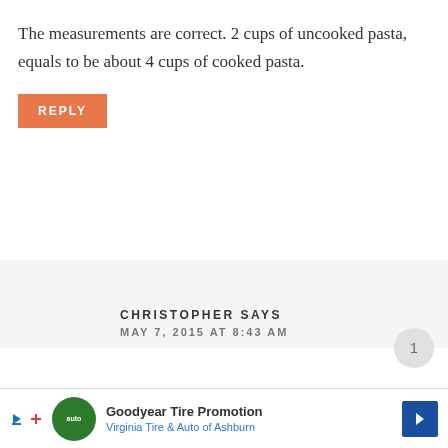≡  🔍 f 📷 𝗣 ▶
The measurements are correct. 2 cups of uncooked pasta, equals to be about 4 cups of cooked pasta.
REPLY
CHRISTOPHER SAYS
MAY 7, 2015 AT 8:43 AM
Mea culpa! I was in a hurry at work earlier
Goodyear Tire Promotion  Virginia Tire & Auto of Ashburn